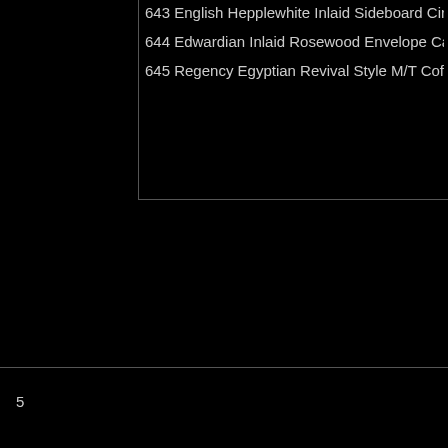643 English Hepplewhite Inlaid Sideboard Circa 1800
644 Edwardian Inlaid Rosewood Envelope Card Table
645 Regency Egyptian Revival Style M/T Coffee Table
5